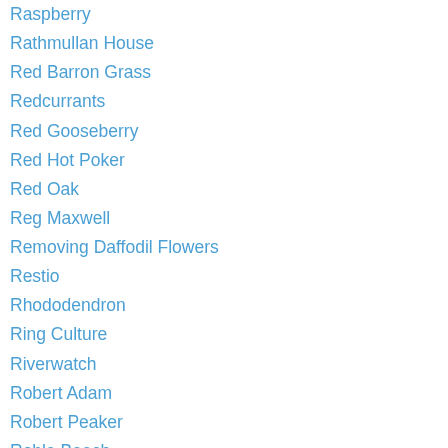Raspberry
Rathmullan House
Red Barron Grass
Redcurrants
Red Gooseberry
Red Hot Poker
Red Oak
Reg Maxwell
Removing Daffodil Flowers
Restio
Rhododendron
Ring Culture
Riverwatch
Robert Adam
Robert Peaker
Roble Beech
Rocket
Root-vegetable
Ros Ban Garden
RosBan Gardens Raphoe